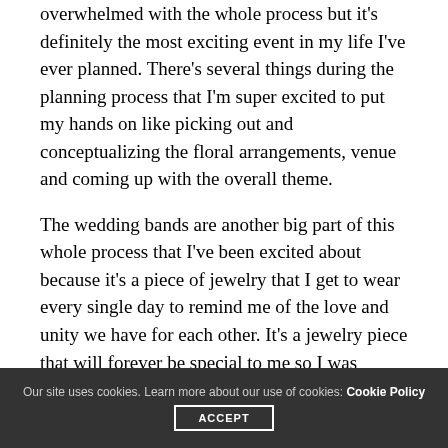overwhelmed with the whole process but it's definitely the most exciting event in my life I've ever planned. There's several things during the planning process that I'm super excited to put my hands on like picking out and conceptualizing the floral arrangements, venue and coming up with the overall theme.
The wedding bands are another big part of this whole process that I've been excited about because it's a piece of jewelry that I get to wear every single day to remind me of the love and unity we have for each other. It's a jewelry piece that will forever be special to me so I was excited to go look at weddings bands together
Our site uses cookies. Learn more about our use of cookies: Cookie Policy ACCEPT